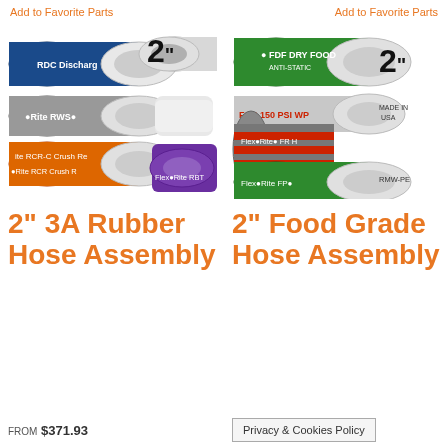Add to Favorite Parts
Add to Favorite Parts
[Figure (photo): Multiple rubber hoses including blue RDC Discharge, grey RWS, orange RCR-C Crush, and purple RBT hoses with a large '2"' size callout]
[Figure (photo): Multiple food grade hoses including green FDF Dry Food Anti-Static, FGS 150 PSI WP, Flex-Rite FRH, FPL, and RMW-PE hoses with a large '2"' size callout]
2" 3A Rubber Hose Assembly
2" Food Grade Hose Assembly
FROM $371.93
Privacy & Cookies Policy